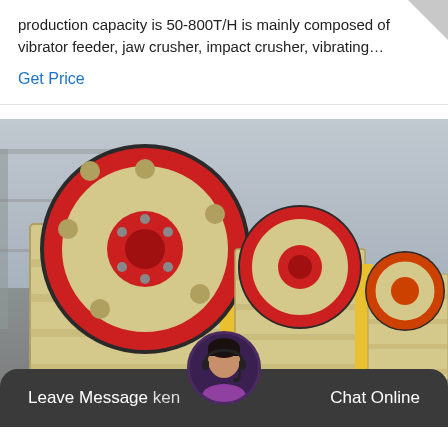production capacity is 50-800T/H is mainly composed of vibrator feeder, jaw crusher, impact crusher, vibrating…
Get Price
[Figure (photo): Row of jaw crusher machines in an industrial warehouse. The machines are large, cream/beige colored with prominent red and dark circular flywheels on the front face. Multiple crushers are lined up in perspective, with red and yellow color accents. Industrial building structure visible in background.]
Leave Message ken
Chat Online